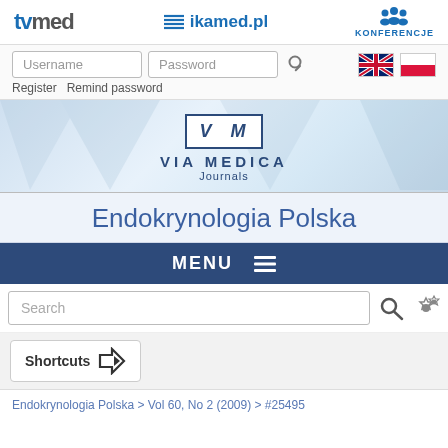[Figure (screenshot): Top navigation bar with tvmed logo, ikamed.pl logo with icon, and KONFERENCJE (conferences) icon]
[Figure (screenshot): Login bar with Username and Password input fields, key icon, British and Polish flag language selectors, Register and Remind password links]
[Figure (logo): Via Medica Journals logo with V M letters in open book style]
Endokrynologia Polska
MENU
[Figure (screenshot): Search input bar with search and settings icons]
[Figure (screenshot): Shortcuts button with arrow icon]
Endokrynologia Polska > Vol 60, No 2 (2009) > #25495